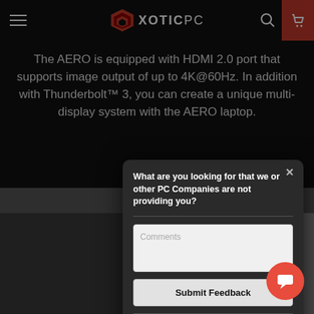XOTICPC
The AERO is equipped with HDMI 2.0 port that supports image output of up to 4K@60Hz. In addition with Thunderbolt™ 3, you can create a unique multi-display system with the AERO laptop.
[Figure (screenshot): Modal popup dialog on XOTICPC website asking 'What are you looking for that we or other PC Companies are not providing you?' with a Comments textarea and Submit Feedback button, powered by luckyorange.]